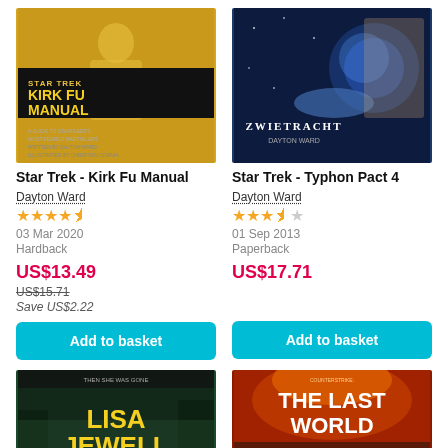[Figure (photo): Book cover for Star Trek - Kirk Fu Manual by Dayton Ward, yellow with martial arts imagery and Star Trek logo]
Star Trek - Kirk Fu Manual
Dayton Ward
[Figure (other): Star rating: 4.5 out of 5 stars]
03 Mar 2020
Hardback
US$13.49
US$15.71
Save US$2.22
Add to basket
[Figure (photo): Book cover for Star Trek - Typhon Pact 4 (Zwietracht) by Dayton Ward, dark blue sci-fi imagery with woman and planet]
Star Trek - Typhon Pact 4
Dayton Ward
[Figure (other): Star rating: 3.5 out of 5 stars]
01 Sep 2013
Paperback
US$17.71
Add to basket
[Figure (photo): Book cover for Lisa Jewell novel, dark green forest themed with author name in large yellow text]
[Figure (photo): Book cover for Counterstrike: The Last World, orange/red dramatic cover with large bold text]